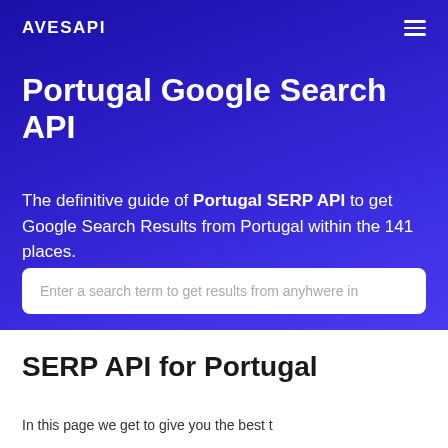AVESAPI
Portugal Google Search API
The definitive guide of Portugal SERP API to get Google Search Results from Portugal within the 141 places.
[Figure (other): Search input box with placeholder text: Enter a search term to get results from anyhwere in]
SERP API for Portugal
In this page we get to give you the best...